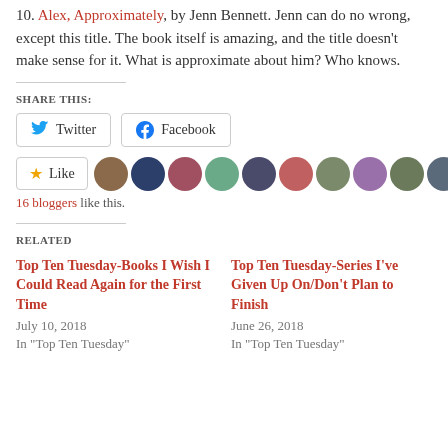10. Alex, Approximately, by Jenn Bennett. Jenn can do no wrong, except this title. The book itself is amazing, and the title doesn't make sense for it. What is approximate about him? Who knows.
SHARE THIS:
Twitter  Facebook
Like  16 bloggers like this.
RELATED
Top Ten Tuesday-Books I Wish I Could Read Again for the First Time
July 10, 2018
In "Top Ten Tuesday"
Top Ten Tuesday-Series I've Given Up On/Don't Plan to Finish
June 26, 2018
In "Top Ten Tuesday"